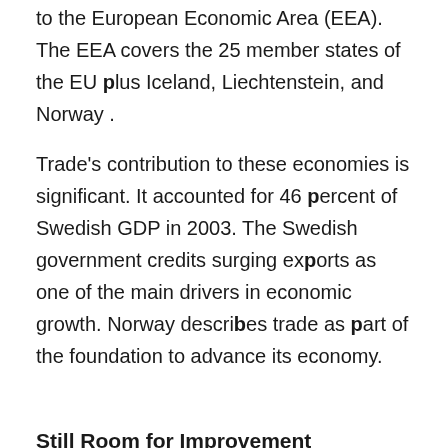to the European Economic Area (EEA). The EEA covers the 25 member states of the EU plus Iceland, Liechtenstein, and Norway .
Trade's contribution to these economies is significant. It accounted for 46 percent of Swedish GDP in 2003. The Swedish government credits surging exports as one of the main drivers in economic growth. Norway describes trade as part of the foundation to advance its economy.
Still Room for Improvement
These countries still have much room for improvement despite the strides that they have